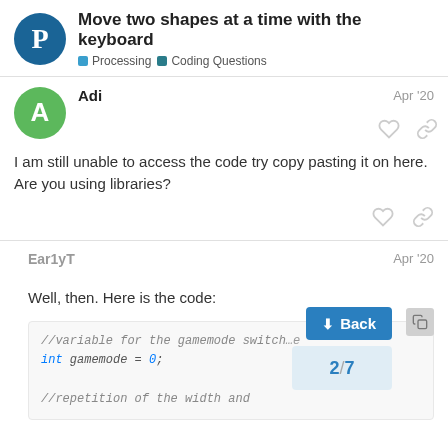Move two shapes at a time with the keyboard | Processing | Coding Questions
Adi Apr '20
I am still unable to access the code try copy pasting it on here. Are you using libraries?
EarlyT Apr '20
Well, then. Here is the code:
//variable for the gamemode switch ...
int gamemode = 0;
//repetition of the width and ...